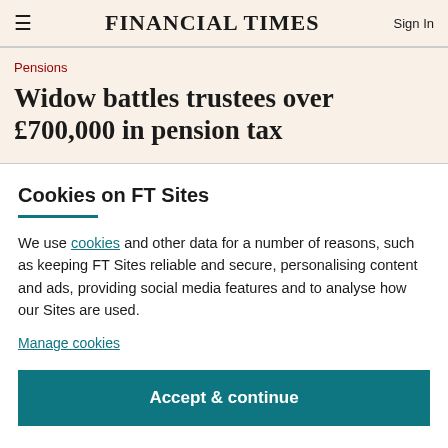FINANCIAL TIMES | Sign In
Pensions
Widow battles trustees over £700,000 in pension tax
Cookies on FT Sites
We use cookies and other data for a number of reasons, such as keeping FT Sites reliable and secure, personalising content and ads, providing social media features and to analyse how our Sites are used.
Manage cookies
Accept & continue